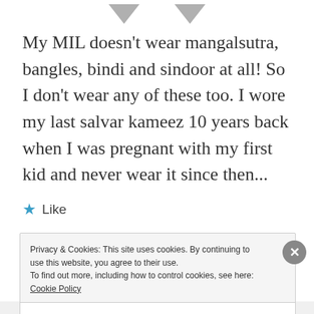[Figure (illustration): Two downward-pointing grey triangle/arrow shapes at the top of the page]
My MIL doesn't wear mangalsutra, bangles, bindi and sindoor at all! So I don't wear any of these too. I wore my last salvar kameez 10 years back when I was pregnant with my first kid and never wear it since then...
★ Like
Privacy & Cookies: This site uses cookies. By continuing to use this website, you agree to their use.
To find out more, including how to control cookies, see here: Cookie Policy
Close and accept